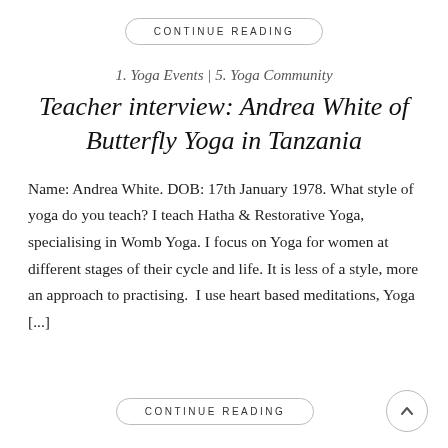CONTINUE READING
1. Yoga Events | 5. Yoga Community
Teacher interview: Andrea White of Butterfly Yoga in Tanzania
Name: Andrea White. DOB: 17th January 1978. What style of yoga do you teach? I teach Hatha & Restorative Yoga, specialising in Womb Yoga. I focus on Yoga for women at different stages of their cycle and life. It is less of a style, more an approach to practising.  I use heart based meditations, Yoga [...]
CONTINUE READING